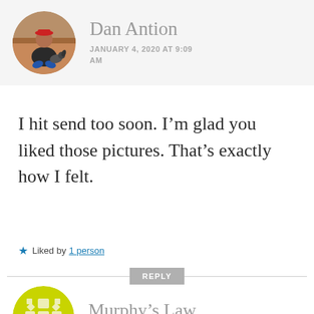[Figure (photo): Circular avatar photo of Dan Antion, a person sitting on a roof with a dog]
Dan Antion
JANUARY 4, 2020 AT 9:09 AM
I hit send too soon. I'm glad you liked those pictures. That's exactly how I felt.
Liked by 1 person
REPLY
[Figure (logo): Circular yellow decorative pattern logo for Murphy's Law]
Murphy's Law
JANUARY 4, 2020 AT 8:57 AM